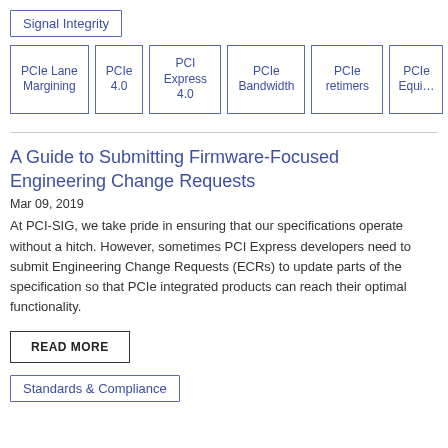Signal Integrity
PCIe Lane Margining
PCIe 4.0
PCI Express 4.0
PCIe Bandwidth
PCIe retimers
PCIe Equi…
A Guide to Submitting Firmware-Focused Engineering Change Requests
Mar 09, 2019
At PCI-SIG, we take pride in ensuring that our specifications operate without a hitch. However, sometimes PCI Express developers need to submit Engineering Change Requests (ECRs) to update parts of the specification so that PCIe integrated products can reach their optimal functionality.
READ MORE
Standards & Compliance